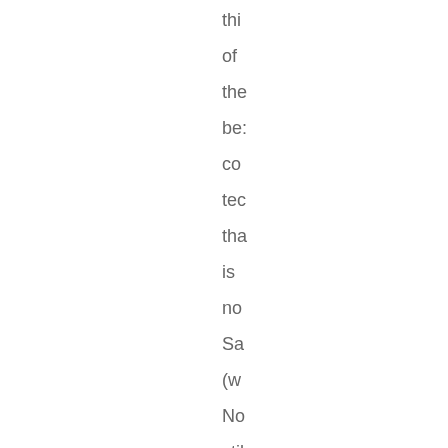thi
of
the
be:
co
tec
tha
is
no
Sa
(w
No
stil
at
the
sta
of